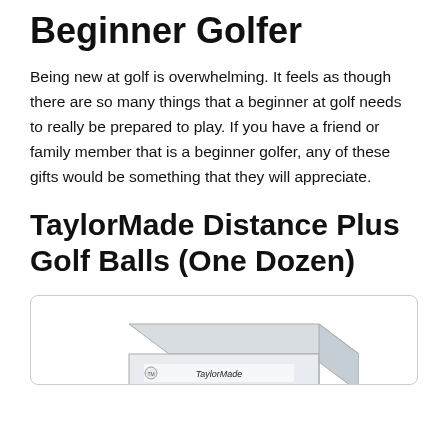Beginner Golfer
Being new at golf is overwhelming. It feels as though there are so many things that a beginner at golf needs to really be prepared to play. If you have a friend or family member that is a beginner golfer, any of these gifts would be something that they will appreciate.
TaylorMade Distance Plus Golf Balls (One Dozen)
[Figure (photo): A TaylorMade branded golf ball box, partially visible at the bottom of the image frame, with rounded rectangle border container.]